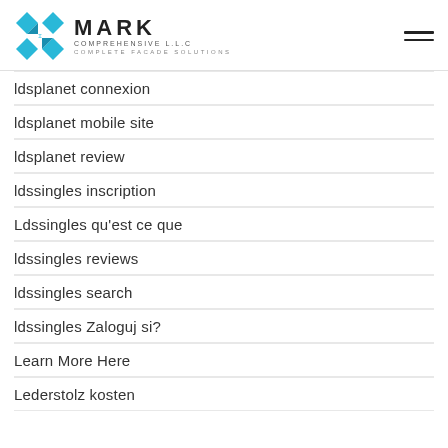MARK COMPREHENSIVE L.L.C — COMPLETE FACADE SOLUTIONS
ldsplanet connexion
ldsplanet mobile site
ldsplanet review
ldssingles inscription
Ldssingles qu'est ce que
ldssingles reviews
ldssingles search
ldssingles Zaloguj si?
Learn More Here
Lederstolz kosten